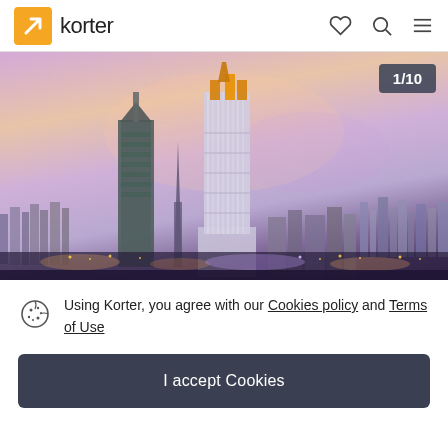korter
[Figure (photo): Aerial cityscape photo showing Dubai skyline at dusk/sunset with tall modern skyscrapers including a prominent glass tower in the center, image counter showing 1/10]
Using Korter, you agree with our Cookies policy and Terms of Use
I accept Cookies